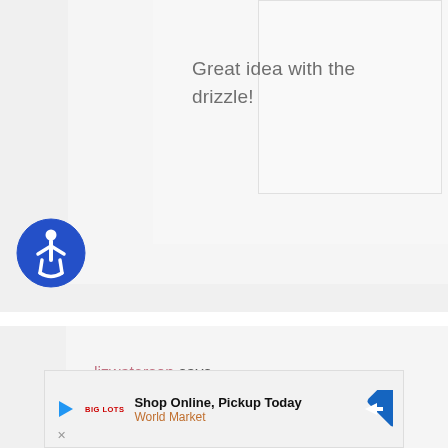Great idea with the drizzle!
[Figure (illustration): Accessibility icon — blue circle with white wheelchair user figure]
lizwaterson says
February 20, 2013 at 7:53 am
[Figure (infographic): Advertisement banner: Shop Online, Pickup Today — World Market, with play button, logo, and blue arrow sign icon]